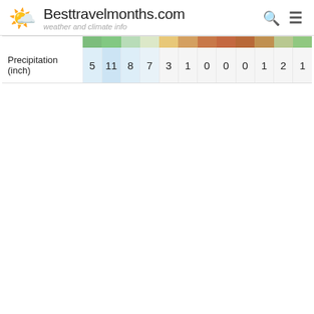Besttravelmonths.com — weather and climate info
|  | Jan | Feb | Mar | Apr | May | Jun | Jul | Aug | Sep | Oct | Nov | Dec |
| --- | --- | --- | --- | --- | --- | --- | --- | --- | --- | --- | --- | --- |
| Precipitation (inch) | 5 | 11 | 8 | 7 | 3 | 1 | 0 | 0 | 0 | 1 | 2 | 1 |